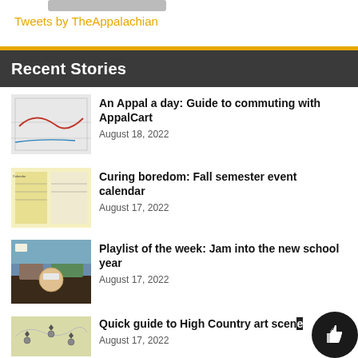Tweets by TheAppalachian
Recent Stories
[Figure (other): Thumbnail image: map of AppalCart bus routes]
An Appal a day: Guide to commuting with AppalCart
August 18, 2022
[Figure (other): Thumbnail image: Fall semester event calendar document]
Curing boredom: Fall semester event calendar
August 17, 2022
[Figure (photo): Thumbnail photo: outdoor mural or art scene in colorful mountain town]
Playlist of the week: Jam into the new school year
August 17, 2022
[Figure (map): Thumbnail image: map with location pins for High Country art scene]
Quick guide to High Country art scene
August 17, 2022